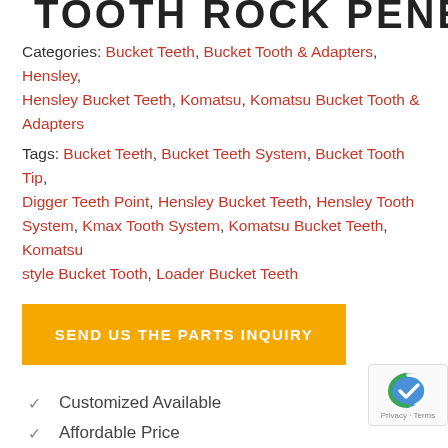TOOTH ROCK PENETRATOR
Categories: Bucket Teeth, Bucket Tooth & Adapters, Hensley, Hensley Bucket Teeth, Komatsu, Komatsu Bucket Tooth & Adapters
Tags: Bucket Teeth, Bucket Teeth System, Bucket Tooth Tip, Digger Teeth Point, Hensley Bucket Teeth, Hensley Tooth System, Kmax Tooth System, Komatsu Bucket Teeth, Komatsu style Bucket Tooth, Loader Bucket Teeth
[Figure (other): Orange button labeled SEND US THE PARTS INQUIRY]
Customized Available
Affordable Price